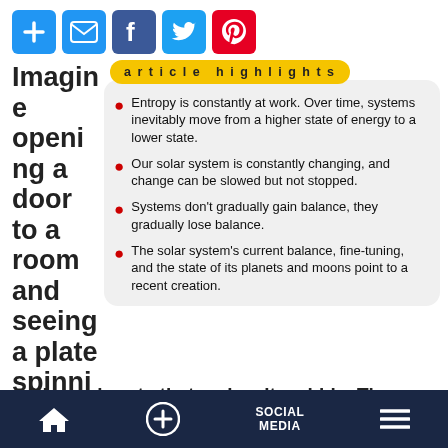[Figure (other): Social share buttons: plus, email, facebook, twitter, pinterest]
Imagine opening a door to a room and seeing a plate spinning on a stick
article highlights
Entropy is constantly at work. Over time, systems inevitably move from a higher state of energy to a lower state.
Our solar system is constantly changing, and change can be slowed but not stopped.
Systems don't gradually gain balance, they gradually lose balance.
The solar system's current balance, fine-tuning, and the state of its planets and moons point to a recent creation.
with a spin rate that makes it wobble. Then
Home | + | SOCIAL MEDIA | Menu